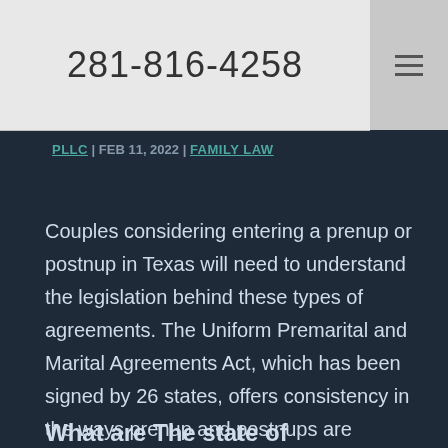281-816-4258
PLLC | FEB 11, 2022 | FAMILY LAW
Couples considering entering a prenup or postnup in Texas will need to understand the legislation behind these types of agreements. The Uniform Premarital and Marital Agreements Act, which has been signed by 26 states, offers consistency in the ways prenup and postnups are drafted and how states can treat the agreements.
What are The state of